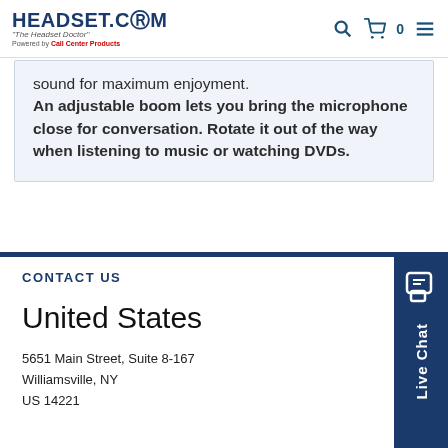HEADSET.COM "The Headset Doctor" Powered by Call Center Products
sound for maximum enjoyment.
An adjustable boom lets you bring the microphone close for conversation. Rotate it out of the way when listening to music or watching DVDs.
CONTACT US
United States
5651 Main Street, Suite 8-167
Williamsville, NY
US 14221